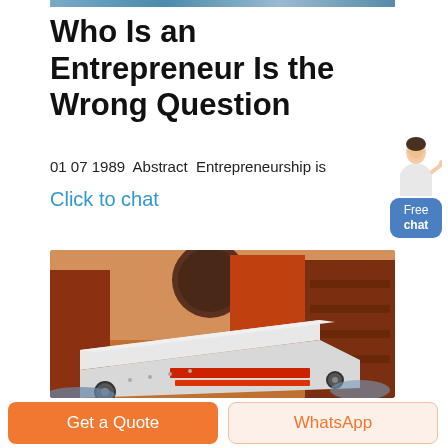[Figure (photo): Top banner photo strip (partially visible, blue/industrial tones)]
Who Is an Entrepreneur Is the Wrong Question
01 07 1989  Abstract  Entrepreneurship is
Click to chat
[Figure (illustration): Chat widget with female avatar figure and 'Free chat' blue button]
[Figure (photo): Industrial machinery photo — white conveyor/feeder machine with red components in a workshop with large orange/red equipment in background]
Get a Quote
WhatsApp